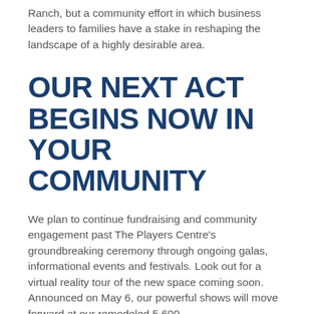Ranch, but a community effort in which business leaders to families have a stake in reshaping the landscape of a highly desirable area.
OUR NEXT ACT BEGINS NOW IN YOUR COMMUNITY
We plan to continue fundraising and community engagement past The Players Centre's groundbreaking ceremony through ongoing galas, informational events and festivals. Look out for a virtual reality tour of the new space coming soon. Announced on May 6, our powerful shows will move forward at our remodeled 5,600...